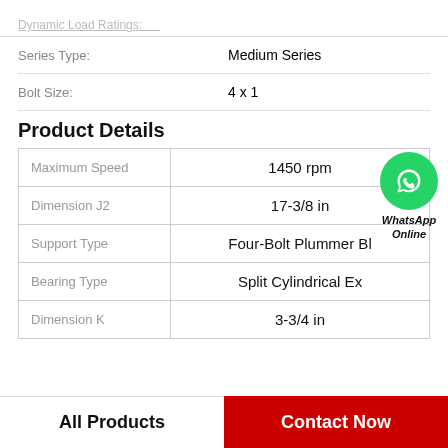Dynamic Load Ratings: [truncated]
Series Type: Medium Series
Bolt Size: 4 x 1
Product Details
|  |  |
| --- | --- |
| Maximum Speed | 1450 rpm |
| Dimension J2 | 17-3/8 in |
| Support Type | Four-Bolt Plummer Bl |
| Bearing Type | Split Cylindrical Ex |
| Dimension K | 3-3/4 in |
[Figure (logo): WhatsApp contact button: green circle with phone icon, text 'WhatsApp Online']
All Products
Contact Now